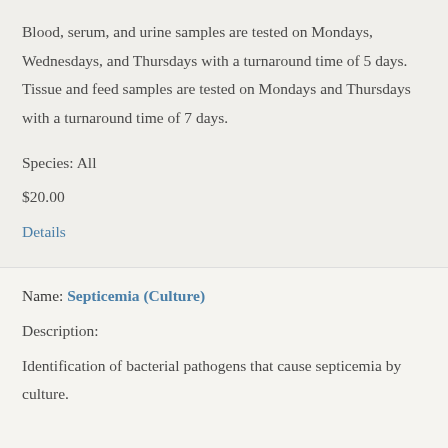Blood, serum, and urine samples are tested on Mondays, Wednesdays, and Thursdays with a turnaround time of 5 days. Tissue and feed samples are tested on Mondays and Thursdays with a turnaround time of 7 days.
Species: All
$20.00
Details
Name: Septicemia (Culture)
Description:
Identification of bacterial pathogens that cause septicemia by culture.